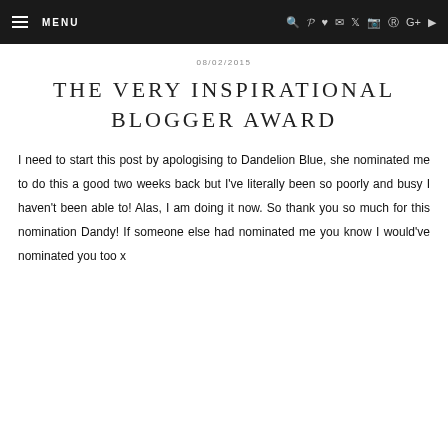MENU
08/02/2015
THE VERY INSPIRATIONAL BLOGGER AWARD
I need to start this post by apologising to Dandelion Blue, she nominated me to do this a good two weeks back but I've literally been so poorly and busy I haven't been able to! Alas, I am doing it now. So thank you so much for this nomination Dandy! If someone else had nominated me you know I would've nominated you too x